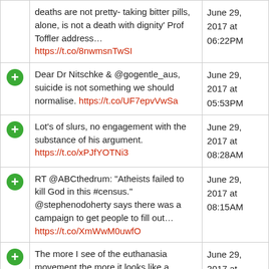|  | Tweet | Date |
| --- | --- | --- |
|  | deaths are not pretty- taking bitter pills, alone, is not a death with dignity' Prof Toffler address… https://t.co/8nwmsnTwSI | June 29, 2017 at 06:22PM |
|  | Dear Dr Nitschke & @gogentle_aus, suicide is not something we should normalise. https://t.co/UF7epvVwSa | June 29, 2017 at 05:53PM |
|  | Lot's of slurs, no engagement with the substance of his argument. https://t.co/xPJfYOTNi3 | June 29, 2017 at 08:28AM |
|  | RT @ABCthedrum: "Atheists failed to kill God in this #census." @stephenodoherty says there was a campaign to get people to fill out… https://t.co/XmWwM0uwfO | June 29, 2017 at 08:15AM |
|  | The more I see of the euthanasia movement the more it looks like a | June 29, 2017 at |